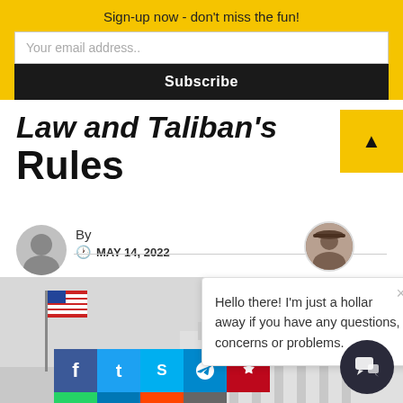Sign-up now - don't miss the fun!
Law and Taliban's Rules
By
MAY 14, 2022
[Figure (photo): Photo of US flag and Supreme Court building in background, gray sky]
Hello there! I'm just a hollar away if you have any questions, concerns or problems.
[Figure (infographic): Social share buttons: Facebook, Twitter, Skype, Telegram, Pinterest, WhatsApp, LinkedIn, Reddit, Email]